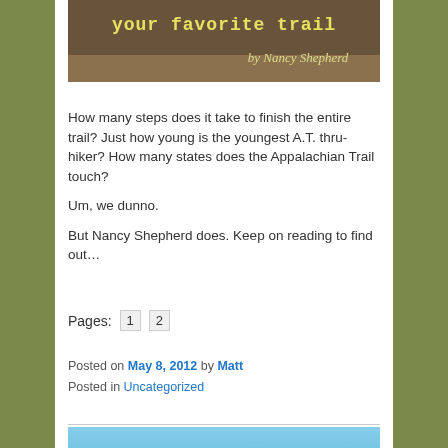[Figure (illustration): Book cover image with text 'your favorite trail' and 'by Nancy Shepherd' on a nature background]
How many steps does it take to finish the entire trail? Just how young is the youngest A.T. thru-hiker? How many states does the Appalachian Trail touch?
Um, we dunno.
But Nancy Shepherd does. Keep on reading to find out…
Pages:  1  2
Posted on May 8, 2012 by Matt
Posted in Uncategorized
[Figure (illustration): Book cover image with text 'GAINING GROUND,' on a blue gradient background]